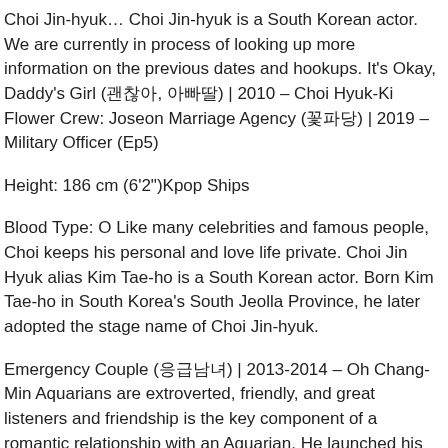Choi Jin-hyuk… Choi Jin-hyuk is a South Korean actor. We are currently in process of looking up more information on the previous dates and hookups. It's Okay, Daddy's Girl (괜찮아, 아빠딸) | 2010 – Choi Hyuk-Ki Flower Crew: Joseon Marriage Agency (꽃파당) | 2019 – Military Officer (Ep5)
Height: 186 cm (6'2")Kpop Ships
Blood Type: O Like many celebrities and famous people, Choi keeps his personal and love life private. Choi Jin Hyuk alias Kim Tae-ho is a South Korean actor. Born Kim Tae-ho in South Korea's South Jeolla Province, he later adopted the stage name of Choi Jin-hyuk.
Emergency Couple (응급남녀) | 2013-2014 – Oh Chang-Min Aquarians are extroverted, friendly, and great listeners and friendship is the key component of a romantic relationship with an Aquarian. He launched his acting career after winning the